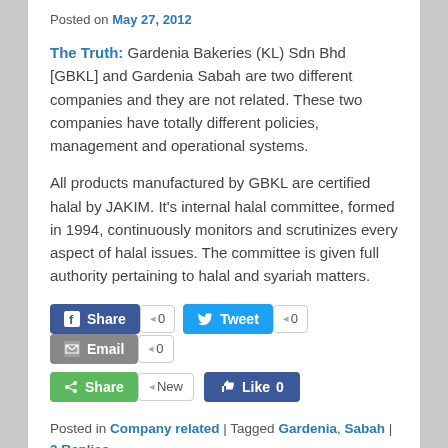Posted on May 27, 2012
The Truth: Gardenia Bakeries (KL) Sdn Bhd [GBKL] and Gardenia Sabah are two different companies and they are not related. These two companies have totally different policies, management and operational systems.
All products manufactured by GBKL are certified halal by JAKIM. It's internal halal committee, formed in 1994, continuously monitors and scrutinizes every aspect of halal issues. The committee is given full authority pertaining to halal and syariah matters.
[Figure (screenshot): Social sharing buttons row: Facebook Share (0), Twitter Tweet (0), Email (0), green Share (New), Facebook Like (0)]
Posted in Company related | Tagged Gardenia, Sabah | 3 Replies
3 THOUGHTS ON "FALSEHOOD 3: THE HALAL STATUS OF GARDENIA